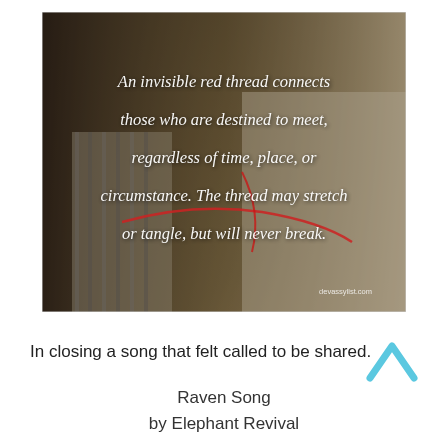[Figure (photo): Photo of two people making heart shapes with their hands, with red thread, overlaid with cursive white text: 'An invisible red thread connects those who are destined to meet, regardless of time, place, or circumstance. The thread may stretch or tangle, but will never break.' with a small logo 'devassylist.com' in the bottom right corner.]
In closing a song that felt called to be shared.
Raven Song
by Elephant Revival